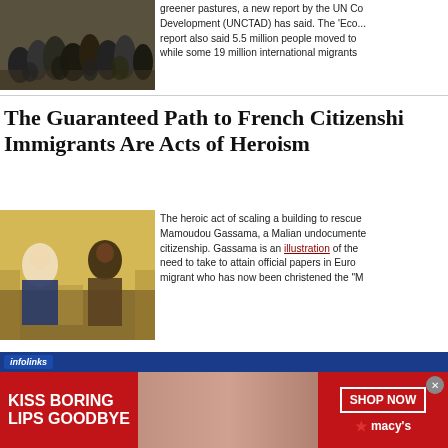[Figure (photo): Crowd of people, many appearing to be migrants or refugees]
greener pastures, a new report by the UN Conference on Trade and Development (UNCTAD) has said. The 'Eco... report also said 5.5 million people moved to... while some 19 million international migrants
The Guaranteed Path to French Citizenship for Immigrants Are Acts of Heroism
[Figure (photo): Two men sitting and talking in an ornate room, one appears to be Emmanuel Macron]
The heroic act of scaling a building to rescue... Mamoudou Gassama, a Malian undocumented... citizenship. Gassama is an illustration of the... need to take to attain official papers in Euro... migrant who has now been christened the "M
[Figure (photo): Advertisement banner: KISS BORING LIPS GOODBYE - Macy's lip product ad with SHOP NOW button]